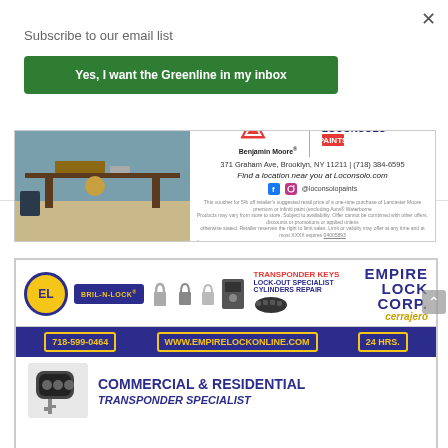Subscribe to our email list
Yes, I want the Greenline in my inbox
[Figure (advertisement): Benjamin Moore and Loconsolo Paints advertisement. Photo of a workshop table on the left. Logo area shows Benjamin Moore triangle logo and Loconsolo Paints logo. Address: 371 Graham Ave, Brooklyn, NY 11211 | (718) 384-6595. Find a location near you at Loconsolo.com. Social media icons for Facebook and Instagram @loconsolopaints. Fine print text at bottom.]
[Figure (advertisement): Empire Lock Corp advertisement. Yellow circle EL logo on left. Text: EMPIRE LOCK CORP in blue, cerrajero in gold italic. Images of locks, keys, transponder. TRANSPONDER KEYS, LOCK-OUT SPECIALIST, CYLINDERS REPAIR. Phone: 718-599-0464, WWW.EMPIRELOCKONLINE.COM, 24 HRS. Bottom section: car key fob image, COMMERCIAL & RESIDENTIAL text.]